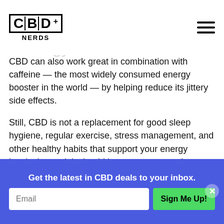CBD+ NERDS
CBD can also work great in combination with caffeine — the most widely consumed energy booster in the world — by helping reduce its jittery side effects.
Still, CBD is not a replacement for good sleep hygiene, regular exercise, stress management, and other healthy habits that support your energy levels. Instead, it should be seen as a supplement to your overall wellness routine.
If you're interested in trying CBD for energy, we recommend going with CBD oil like one from American Shaman or a product that combines CBD with caffeine. You can even create your own product (with Magical Butter's help) and come up with a CBD/coffee hybrid.
Get the latest in CBD deals to your inbox.